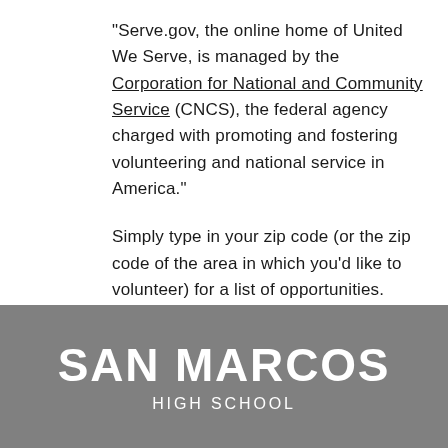"Serve.gov, the online home of United We Serve, is managed by the Corporation for National and Community Service (CNCS), the federal agency charged with promoting and fostering volunteering and national service in America."

Simply type in your zip code (or the zip code of the area in which you'd like to volunteer) for a list of opportunities.
SAN MARCOS
HIGH SCHOOL